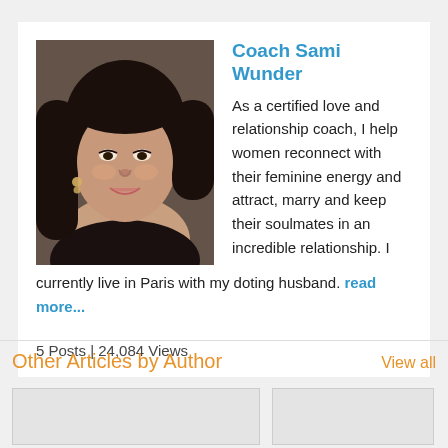[Figure (photo): Headshot photo of Coach Sami Wunder, a woman with dark hair, smiling, wearing earrings]
Coach Sami Wunder
As a certified love and relationship coach, I help women reconnect with their feminine energy and attract, marry and keep their soulmates in an incredible relationship. I currently live in Paris with my doting husband. read more...
5 Posts | 24,084 Views
Other Articles by Author
View all
[Figure (photo): Article thumbnail image placeholder (left)]
[Figure (photo): Article thumbnail image placeholder (right)]